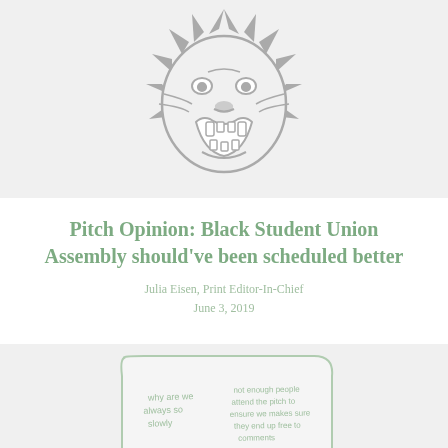[Figure (illustration): A roaring lion/tiger head mascot logo in gray outline style on a light gray background]
Pitch Opinion: Black Student Union Assembly should've been scheduled better
Julia Eisen, Print Editor-In-Chief
June 3, 2019
[Figure (illustration): A hand-drawn cartoon speech bubble or note card with handwritten green text that appears to say 'why are we always so slowly' and 'not enough people attend the pitch to ensure me makes sure they end up free to comments']